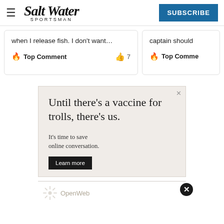Salt Water Sportsman | SUBSCRIBE
when I release fish. I don't want…
🔥 Top Comment   👍 7
captain should
🔥 Top Comme
[Figure (screenshot): Advertisement for OpenWeb: 'Until there's a vaccine for trolls, there's us. It's time to save online conversation. Learn more' with OpenWeb logo at bottom.]